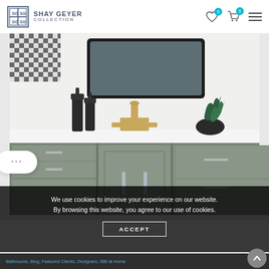Shay Geyer Collection
[Figure (photo): Bathroom vanity with gray cabinets, white countertop, brushed gold faucet, black mirror, and decorative plant on counter]
We use cookies to improve your experience on our website. By browsing this website, you agree to our use of cookies.
ACCEPT
Bathrooms, Blog, Featured Clients, Designers, IBB at Home